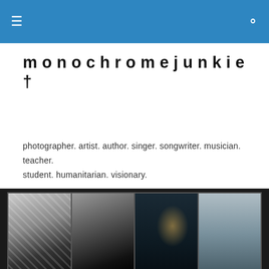monochromejunkie
monochromejunkie †
photographer. artist. author. singer. songwriter. musician. teacher. student. humanitarian. visionary.
[Figure (photo): Banner strip with four photos: black and white abstract hands, black and white portrait of a woman, dark moody doorway scene, misty figure in grey landscape]
POSTED IN PSYCHOLOGY MAJOR
It's a Monumental Dream…but